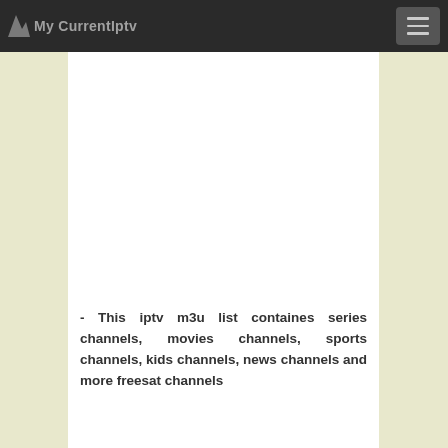My CurrentIptv
- This iptv m3u list containes series channels, movies channels, sports channels, kids channels, news channels and more freesat channels